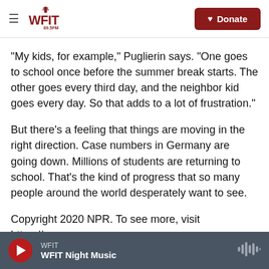WFIT 89.5FM | Donate
"My kids, for example," Puglierin says. "One goes to school once before the summer break starts. The other goes every third day, and the neighbor kid goes every day. So that adds to a lot of frustration."
But there's a feeling that things are moving in the right direction. Case numbers in Germany are going down. Millions of students are returning to school. That's the kind of progress that so many people around the world desperately want to see.
Copyright 2020 NPR. To see more, visit https://www.npr.org
WFIT — WFIT Night Music